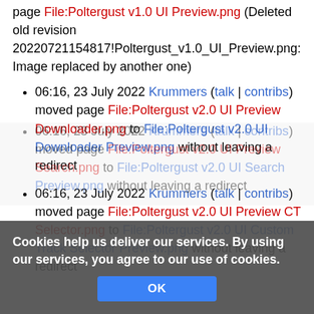page File:Poltergust v1.0 UI Preview.png (Deleted old revision 20220721154817!Poltergust_v1.0_UI_Preview.png: Image replaced by another one)
06:16, 23 July 2022 Krummers (talk | contribs) moved page File:Poltergust v2.0 UI Preview Downloader.png to File:Poltergust v2.0 UI Downloader Preview.png without leaving a redirect
06:16, 23 July 2022 Krummers (talk | contribs) moved page File:Poltergust v2.0 UI Preview CT Selector.png to File:Poltergust v2.0 UI Custom Track Selector Preview.png without leaving a redirect
06:16, 23 July 2022 Krummers (talk | contribs) moved page File:Poltergust v2.0 UI Preview Search.png to File:Poltergust v2.0 UI Search Preview.png without leaving a redirect
Cookies help us deliver our services. By using our services, you agree to our use of cookies.
OK